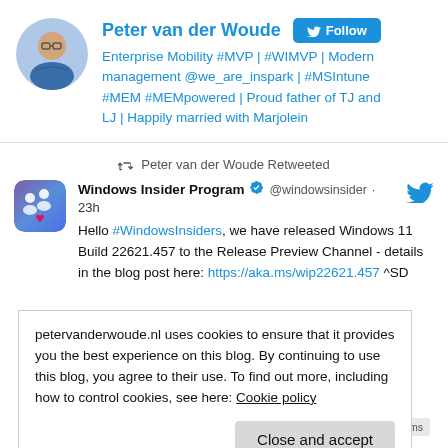[Figure (photo): Circular profile photo of Peter van der Woude, a man in a blue jacket with arms crossed]
Peter van der Woude
Follow
Enterprise Mobility #MVP | #WIMVP | Modern management @we_are_inspark | #MSIntune #MEM #MEMpowered | Proud father of TJ and LJ | Happily married with Marjolein
Peter van der Woude Retweeted
[Figure (logo): Windows Insider Program logo - purple/blue rounded square with people icons]
Windows Insider Program @windowsinsider · 23h
Hello #WindowsInsiders, we have released Windows 11 Build 22621.457 to the Release Preview Channel - details in the blog post here: https://aka.ms/wip22621.457 ^SD
petervanderwoude.nl uses cookies to ensure that it provides you the best experience on this blog. By continuing to use this blog, you agree to their use. To find out more, including how to control cookies, see here: Cookie policy
Close and accept
#MicrosoftEndpointManager #MicrosoftIntune #UniversalPrint #Windows11